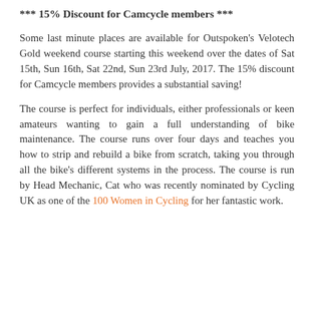*** 15% Discount for Camcycle members ***
Some last minute places are available for Outspoken's Velotech Gold weekend course starting this weekend over the dates of Sat 15th, Sun 16th, Sat 22nd, Sun 23rd July, 2017. The 15% discount for Camcycle members provides a substantial saving!
The course is perfect for individuals, either professionals or keen amateurs wanting to gain a full understanding of bike maintenance. The course runs over four days and teaches you how to strip and rebuild a bike from scratch, taking you through all the bike's different systems in the process. The course is run by Head Mechanic, Cat who was recently nominated by Cycling UK as one of the 100 Women in Cycling for her fantastic work.